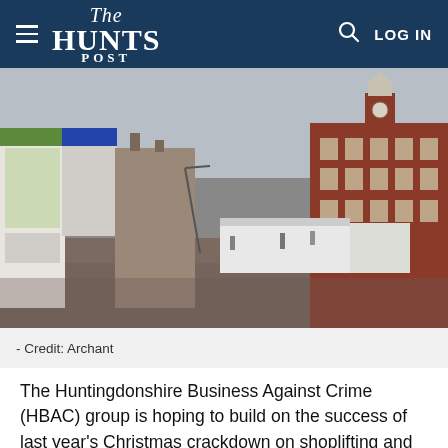The Hunts Post
[Figure (photo): A town square in Huntingdonshire on a rainy day, showing a pedestrianised area with brick paving, retail shops on the left, and a large red-brick civic building with a clock tower and cupola on the right. The sky is overcast and the ground is wet.]
- Credit: Archant
The Huntingdonshire Business Against Crime (HBAC) group is hoping to build on the success of last year's Christmas crackdown on shoplifting and anti-social behaviour in the district's towns.